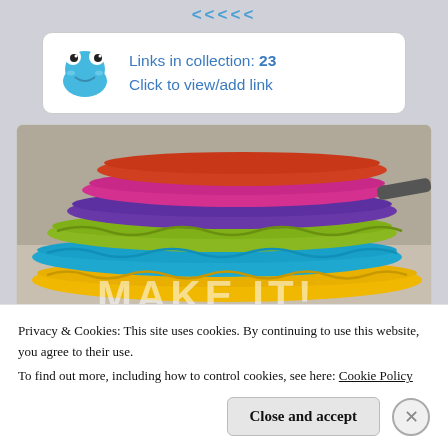<<<<<
[Figure (screenshot): Link collection widget showing a cartoon frog icon with text 'Links in collection: 23 / Click to view/add link' on white rounded rectangle]
[Figure (photo): Close-up photo of colorful stacked crocheted circles in rainbow colors (red, pink, purple, green, teal, yellow), with partial text 'MAKE IT!' overlaid in white]
Privacy & Cookies: This site uses cookies. By continuing to use this website, you agree to their use.
To find out more, including how to control cookies, see here: Cookie Policy
Close and accept